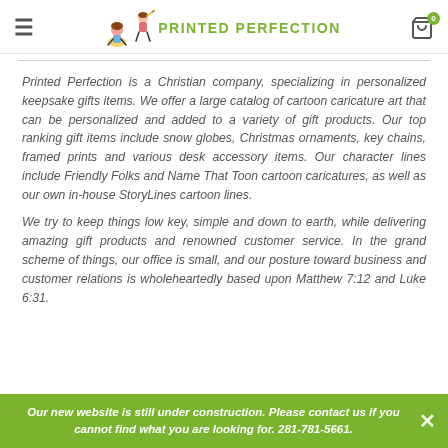Printed Perfection
Printed Perfection is a Christian company, specializing in personalized keepsake gifts items. We offer a large catalog of cartoon caricature art that can be personalized and added to a variety of gift products. Our top ranking gift items include snow globes, Christmas ornaments, key chains, framed prints and various desk accessory items. Our character lines include Friendly Folks and Name That Toon cartoon caricatures, as well as our own in-house StoryLines cartoon lines.
We try to keep things low key, simple and down to earth, while delivering amazing gift products and renowned customer service. In the grand scheme of things, our office is small, and our posture toward business and customer relations is wholeheartedly based upon Matthew 7:12 and Luke 6:31.
Our new website is still under construction. Please contact us if you cannot find what you are looking for. 281-781-5661.